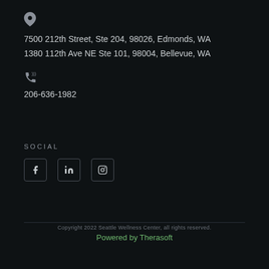7500 212th Street, Ste 204, 98026, Edmonds, WA
1380 112th Ave NE Ste 101, 98004, Bellevue, WA
206-636-1982
SOCIAL
[Figure (infographic): Social media icons: Facebook (f), LinkedIn (in), Instagram (camera icon)]
Copyright 2022 Seattle Wellness Center, all rights reserved.
Powered by Therasoft